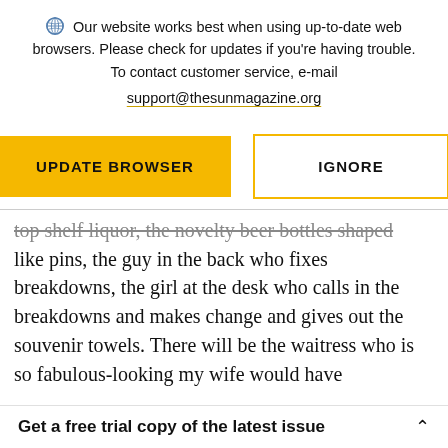Our website works best when using up-to-date web browsers. Please check for updates if you're having trouble. To contact customer service, e-mail support@thesunmagazine.org
[Figure (other): Two buttons: 'UPDATE BROWSER' (yellow/gold filled) and 'IGNORE' (yellow/gold outline)]
top shelf liquor, the novelty beer bottles shaped like pins, the guy in the back who fixes breakdowns, the girl at the desk who calls in the breakdowns and makes change and gives out the souvenir towels. There will be the waitress who is so fabulous-looking my wife would have
Get a free trial copy of the latest issue